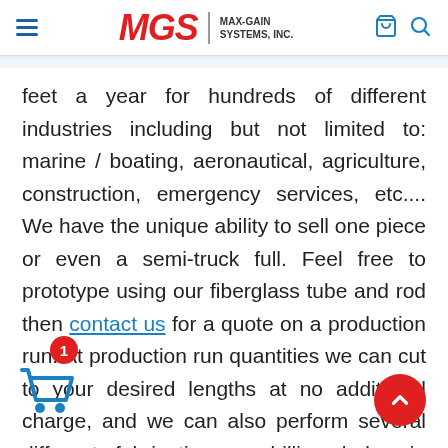MGS MAX-GAIN SYSTEMS, INC.
feet a year for hundreds of different industries including but not limited to: marine / boating, aeronautical, agriculture, construction, emergency services, etc.... We have the unique ability to sell one piece or even a semi-truck full. Feel free to prototype using our fiberglass tube and rod then contact us for a quote on a production run. At production run quantities we can cut to your desired lengths at no additional charge, and we can also perform several different fabrications : drilling holes in precise locations along to ensure your delivered material is ready for assembly. We have several accessory items